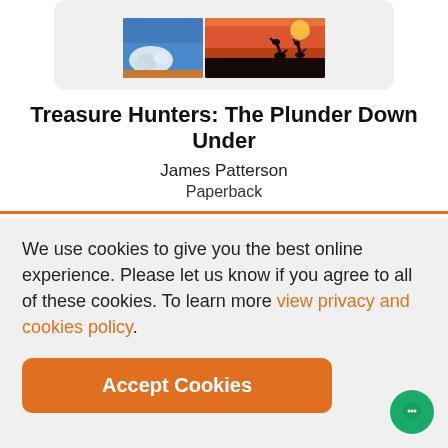[Figure (illustration): Book cover images for Treasure Hunters: The Plunder Down Under — two partial images showing eggs/spheres on red sand and kangaroo silhouettes at sunset]
Treasure Hunters: The Plunder Down Under
James Patterson
Paperback
We use cookies to give you the best online experience. Please let us know if you agree to all of these cookies. To learn more view privacy and cookies policy.
Accept Cookies